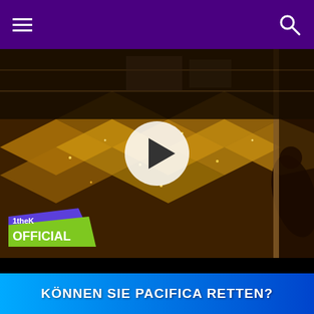Navigation bar with hamburger menu and search icon
[Figure (screenshot): Video thumbnail showing a person lying on a gold glittered floor, 1theK OFFICIAL badge visible in lower left, with a play button overlay circle in the center]
Kpop
Tiger JK is on the run in the "POV" موسیقی video!
Tiger JK can't catch a break. Fight to survive the action-packed "POV" موسیقی video, added طرف سے Stelenavamp!
[Figure (other): Blue gradient banner with text KÖNNEN SIE PACIFICA RETTEN?]